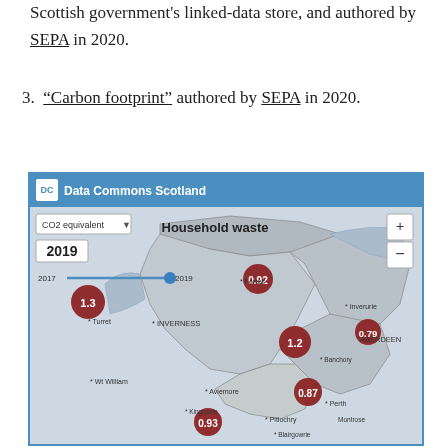Scottish government's linked-data store, and authored by SEPA in 2020.
3. "Carbon footprint" authored by SEPA in 2020.
[Figure (map): Data Commons Scotland interactive map showing Household waste CO2 equivalent data for 2019 across Scottish regions, with red circle markers showing values: 1.3, 0.92, 1.2, 0.79, 0.87, 0.93. A time slider shows range 2017–2019.]